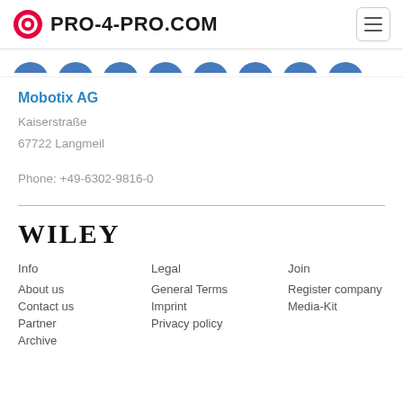PRO-4-PRO.COM
[Figure (screenshot): Partial row of circular blue navigation icons, cropped at top]
Mobotix AG
Kaiserstraße
67722 Langmeil
Phone: +49-6302-9816-0
[Figure (logo): WILEY logo in serif bold uppercase font]
Info
About us
Contact us
Partner
Archive
Legal
General Terms
Imprint
Privacy policy
Join
Register company
Media-Kit